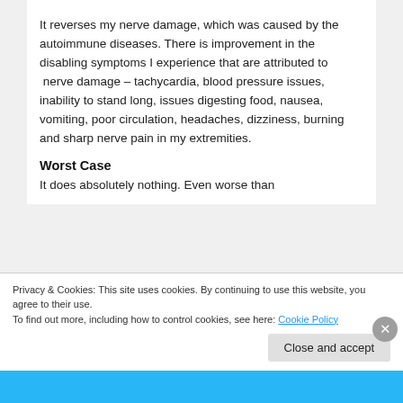It reverses my nerve damage, which was caused by the autoimmune diseases. There is improvement in the disabling symptoms I experience that are attributed to  nerve damage – tachycardia, blood pressure issues, inability to stand long, issues digesting food, nausea, vomiting, poor circulation, headaches, dizziness, burning and sharp nerve pain in my extremities.
Worst Case
It does absolutely nothing. Even worse than
Privacy & Cookies: This site uses cookies. By continuing to use this website, you agree to their use.
To find out more, including how to control cookies, see here: Cookie Policy